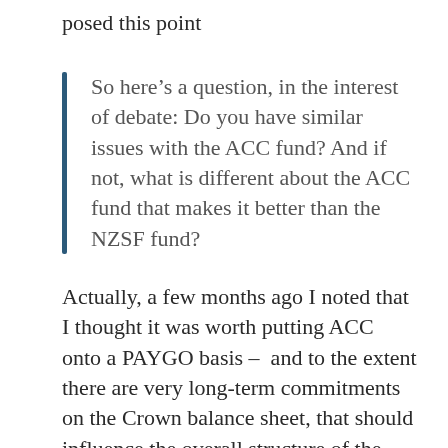posed this point
So here’s a question, in the interest of debate: Do you have similar issues with the ACC fund? And if not, what is different about the ACC fund that makes it better than the NZSF fund?
Actually, a few months ago I noted that I thought it was worth putting ACC onto a PAYGO basis – and to the extent there are very long-term commitments on the Crown balance sheet, that should influence the overall structure of the Crown finances, including the